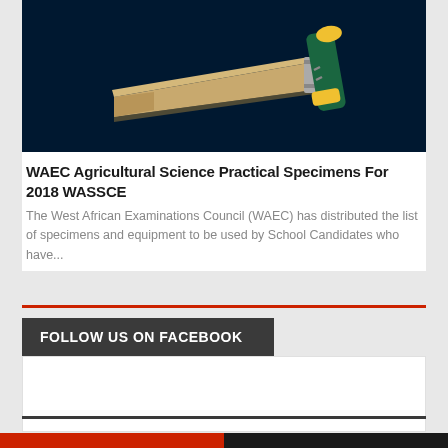[Figure (photo): A brick-laying trowel with yellow and green handle on a dark navy background]
WAEC Agricultural Science Practical Specimens For 2018 WASSCE
The West African Examinations Council (WAEC) has distributed the list of specimens and equipment to be used by School Candidates who have...
FOLLOW US ON FACEBOOK